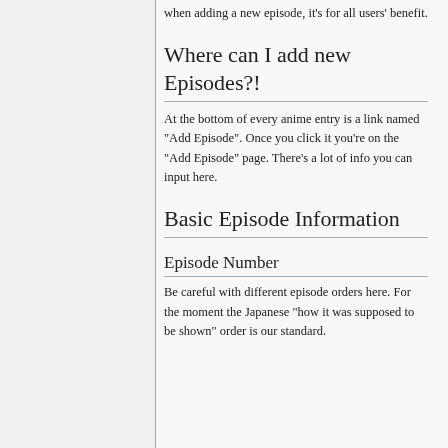when adding a new episode, it's for all users' benefit.
Where can I add new Episodes?!
At the bottom of every anime entry is a link named "Add Episode". Once you click it you're on the "Add Episode" page. There's a lot of info you can input here.
Basic Episode Information
Episode Number
Be careful with different episode orders here. For the moment the Japanese "how it was supposed to be shown" order is our standard.